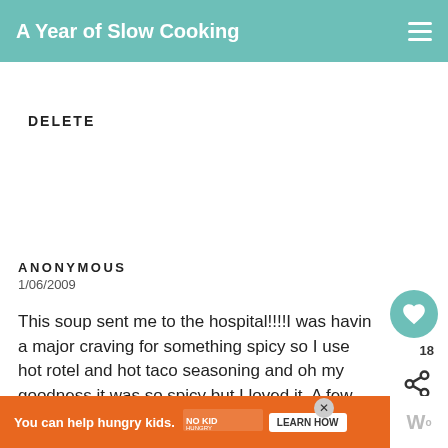A Year of Slow Cooking
DELETE
ANONYMOUS
1/06/2009
This soup sent me to the hospital!!!!I was having a major craving for something spicy so I used hot rotel and hot taco seasoning and oh my goodness it was so spicy but I loved it. A few hours after I ate a couple of bowls of soup I went into labor (something about spicy food inducing labor) so thanks for the great recipe and for sending me to the hospital (in a great way). By the way I think you are hilarious and I
WHAT'S NEXT → Boiled Peanuts...
You can help hungry kids.  NO KID HUNGRY  LEARN HOW